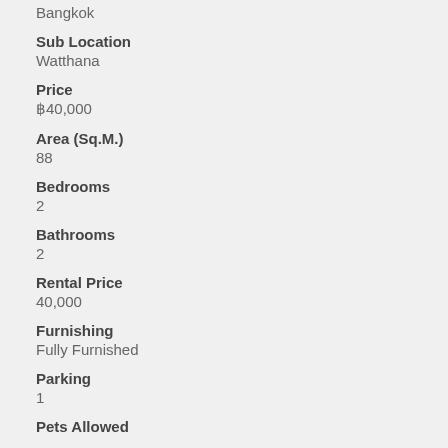Bangkok
Sub Location
Watthana
Price
฿40,000
Area (Sq.M.)
88
Bedrooms
2
Bathrooms
2
Rental Price
40,000
Furnishing
Fully Furnished
Parking
1
Pets Allowed